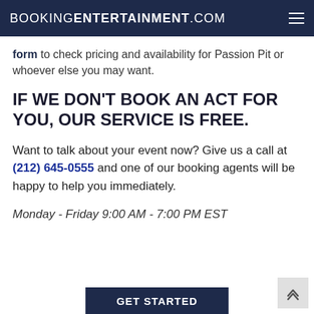BOOKINGENTERTAINMENT.COM
form to check pricing and availability for Passion Pit or whoever else you may want.
IF WE DON'T BOOK AN ACT FOR YOU, OUR SERVICE IS FREE.
Want to talk about your event now? Give us a call at (212) 645-0555 and one of our booking agents will be happy to help you immediately.
Monday - Friday 9:00 AM - 7:00 PM EST
GET STARTED